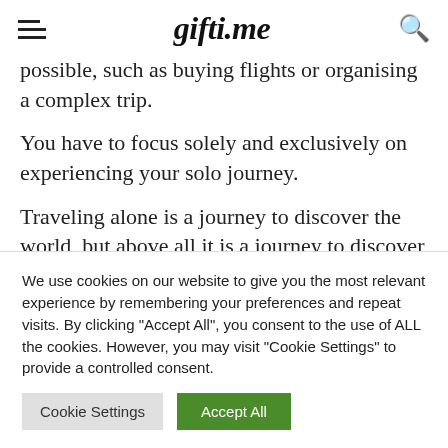gifti.me
possible, such as buying flights or organising a complex trip.
You have to focus solely and exclusively on experiencing your solo journey.
Traveling alone is a journey to discover the world, but above all it is a journey to discover oneself.
Traveling alone will make you grow, it will make you
We use cookies on our website to give you the most relevant experience by remembering your preferences and repeat visits. By clicking "Accept All", you consent to the use of ALL the cookies. However, you may visit "Cookie Settings" to provide a controlled consent.